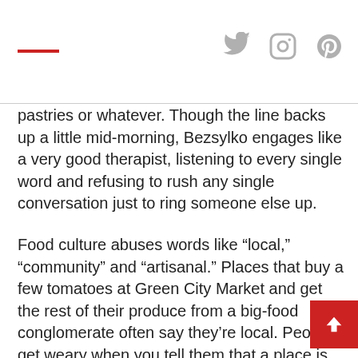Social media icons header with red accent line
pastries or whatever. Though the line backs up a little mid-morning, Bezsylko engages like a very good therapist, listening to every single word and refusing to rush any single conversation just to ring someone else up.
Food culture abuses words like “local,” “community” and “artisanal.” Places that buy a few tomatoes at Green City Market and get the rest of their produce from a big-food conglomerate often say they’re local. People get weary when you tell them that a place is dedicated to craft or sustainability. And I worry that by what I’ve written above, people think, â€œOh, just another â€˜craft’ place.â€� But Cellar Door is dedicated in a way that few are. So